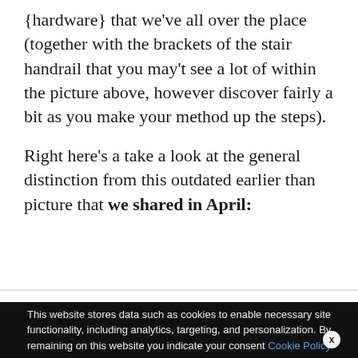{hardware} that we've all over the place (together with the brackets of the stair handrail that you may't see a lot of within the picture above, however discover fairly a bit as you make your method up the steps).
Right here's a take a look at the general distinction from this outdated earlier than picture that we shared in April:
We use cookies on our website to give you the most relevant experience by remembering your preferences and repeat visits. By clicking "Accept All", you consent to the use of ALL the controlled consent.
This website stores data such as cookies to enable necessary site functionality, including analytics, targeting, and personalization. By remaining on this website you indicate your consent Cookie Policy